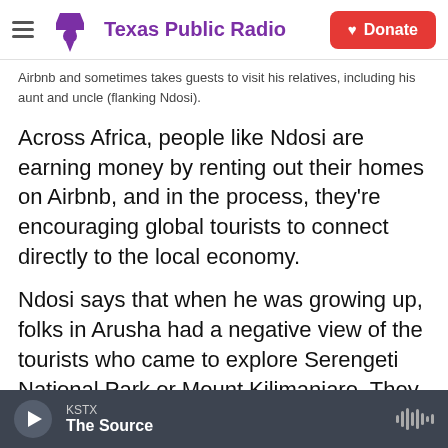Texas Public Radio | Donate
Airbnb and sometimes takes guests to visit his relatives, including his aunt and uncle (flanking Ndosi).
Across Africa, people like Ndosi are earning money by renting out their homes on Airbnb, and in the process, they're encouraging global tourists to connect directly to the local economy.
Ndosi says that when he was growing up, folks in Arusha had a negative view of the tourists who came to explore Serengeti National Park or Mount Kilimanjaro. They brought little to the community because a handful of hotels had a monopoly on the
KSTX The Source